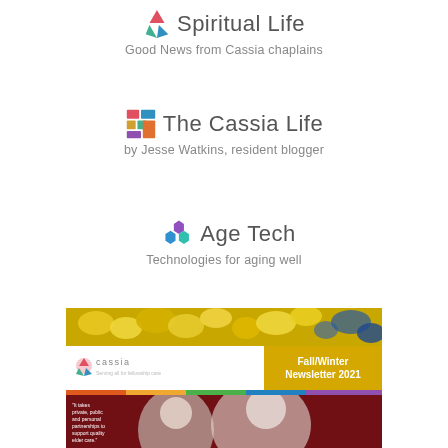[Figure (logo): Spiritual Life logo with colorful angular icon and subtitle 'Good News from Cassia chaplains']
[Figure (logo): The Cassia Life logo with colorful square mosaic icon and subtitle 'by Jesse Watkins, resident blogger']
[Figure (logo): Age Tech logo with hexagonal bubble icons and subtitle 'Technologies for aging well']
[Figure (illustration): Cassia Fall/Winter Newsletter 2021 cover thumbnail showing flowers, Cassia logo, gold badge, color stripe, and photo of elderly couple]